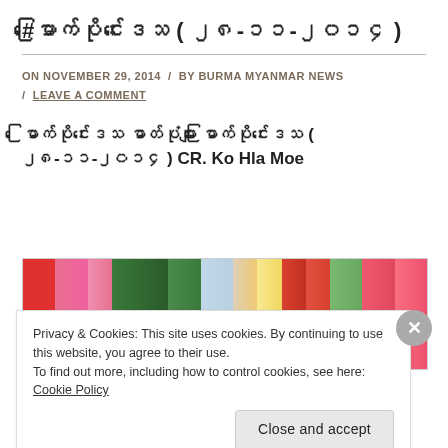#မြောက်ပိုင်းဒေသ ( ၂၈-၁၁-၂၀၁၄ )
ON NOVEMBER 29, 2014 / BY BURMA MYANMAR NEWS / LEAVE A COMMENT
မြောက်ပိုင်းဒေသ ဓာတ်ပုံများ မြောက်ပိုင်းဒေသ ( ၂၈-၁၁-၂၀၁၄ ) CR. Ko Hla Moe
[Figure (photo): Colorful flags outdoors with trees in background]
Privacy & Cookies: This site uses cookies. By continuing to use this website, you agree to their use. To find out more, including how to control cookies, see here: Cookie Policy